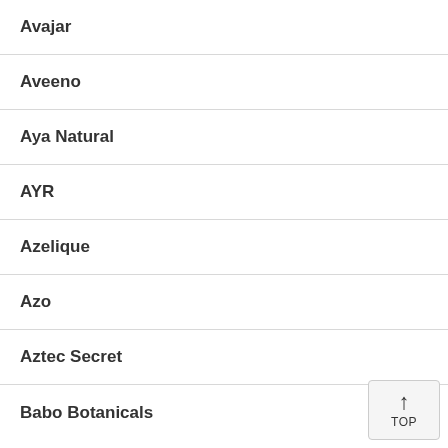Avajar
Aveeno
Aya Natural
AYR
Azelique
Azo
Aztec Secret
Babo Botanicals